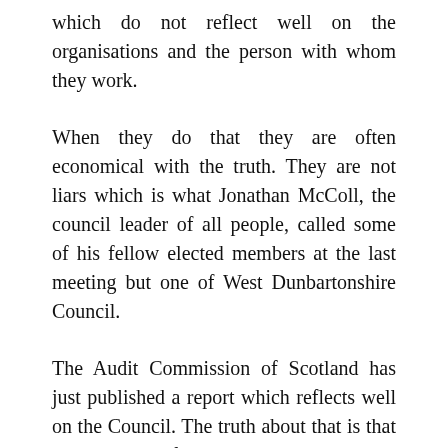which do not reflect well on the organisations and the person with whom they work.
When they do that they are often economical with the truth. They are not liars which is what Jonathan McColl, the council leader of all people, called some of his fellow elected members at the last meeting but one of West Dunbartonshire Council.
The Audit Commission of Scotland has just published a report which reflects well on the Council. The truth about that is that it is way out of date and takes no account of the criticism that has been heaped on the council for its recent blunders.